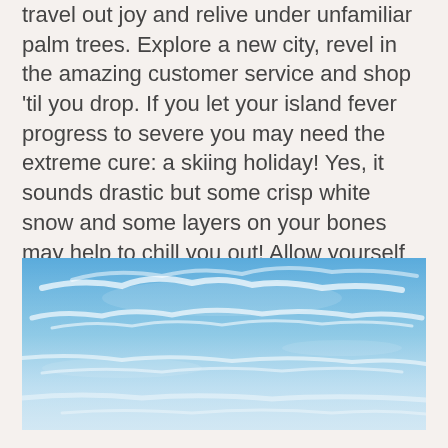travel out joy and relive under unfamiliar palm trees. Explore a new city, revel in the amazing customer service and shop 'til you drop. If you let your island fever progress to severe you may need the extreme cure: a skiing holiday! Yes, it sounds drastic but some crisp white snow and some layers on your bones may help to chill you out! Allow yourself some 'me time' and you will learn to rush slowly again.
[Figure (photo): A wide landscape photograph of a blue sky with wispy white clouds, bright blue in the upper portion fading to lighter blue and white near the horizon.]